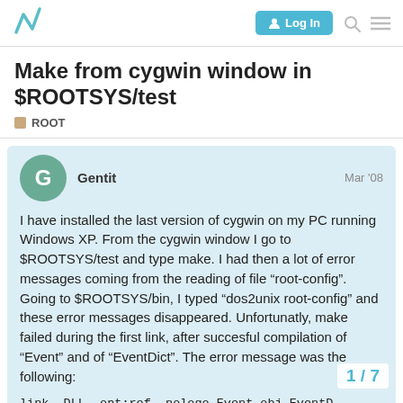Log In
Make from cygwin window in $ROOTSYS/test
ROOT
Gentit  Mar '08

I have installed the last version of cygwin on my PC running Windows XP. From the cygwin window I go to $ROOTSYS/test and type make. I had then a lot of error messages coming from the reading of file “root-config”. Going to $ROOTSYS/bin, I typed “dos2unix root-config” and these error messages disappeared. Unfortunatly, make failed during the first link, after succesful compilation of “Event” and of “EventDict”. The error message was the following:

link -DLL -opt:ref -nologo Event.obj EventD
include; C:...app_setupC...Net include;
1 / 7